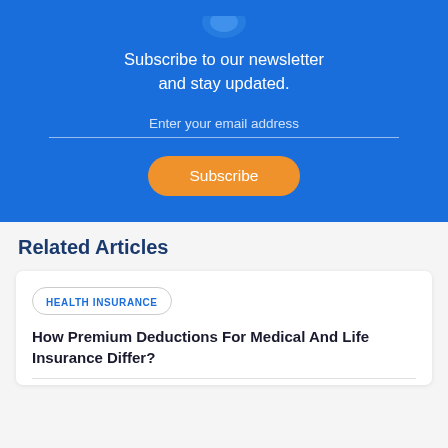[Figure (infographic): Blue newsletter subscription banner with email input field and orange Subscribe button]
Subscribe to our newsletter and stay updated.
Enter your email address
Subscribe
Related Articles
HEALTH INSURANCE
How Premium Deductions For Medical And Life Insurance Differ?